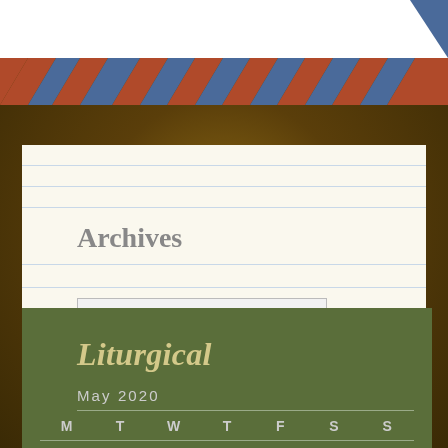[Figure (illustration): Top decorative header with diagonal red/blue chevron stripes on white background, with a blue triangle in the top-right corner]
Archives
Select Month
Liturgical
May 2020
M T W T F S S